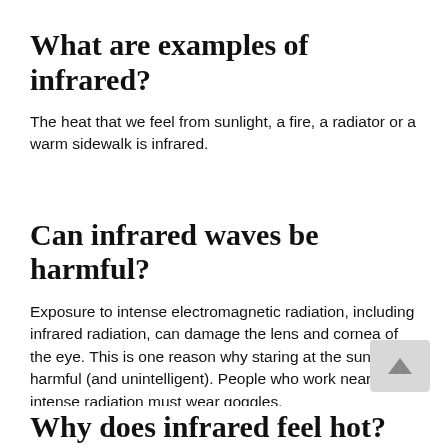What are examples of infrared?
The heat that we feel from sunlight, a fire, a radiator or a warm sidewalk is infrared.
Can infrared waves be harmful?
Exposure to intense electromagnetic radiation, including infrared radiation, can damage the lens and cornea of the eye. This is one reason why staring at the sun is harmful (and unintelligent). People who work near intense radiation must wear goggles.
Why does infrared feel hot?